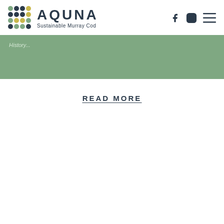AQUNA Sustainable Murray Cod
[Figure (other): Green banner section with partially visible italic text reading 'History...']
READ MORE